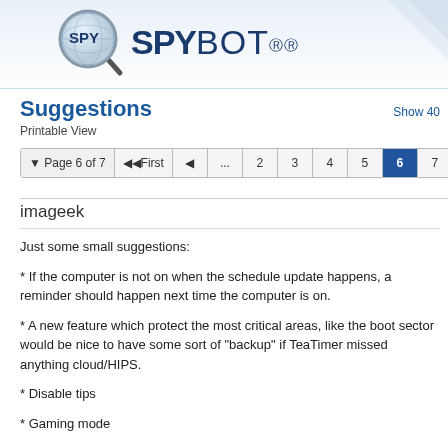[Figure (logo): SpyBot logo with magnifying glass and text 'SPYBOT' with registered marks]
Suggestions
Printable View
Page 6 of 7  First  ...  2  3  4  5  6  7  Last
Show 40
imageek
Just some small suggestions:
* If the computer is not on when the schedule update happens, a reminder should happen next time the computer is on.
* A new feature which protect the most critical areas, like the boot sector would be nice to have some sort of "backup" if TeaTimer missed anything cloud/HIPS.
* Disable tips
* Gaming mode